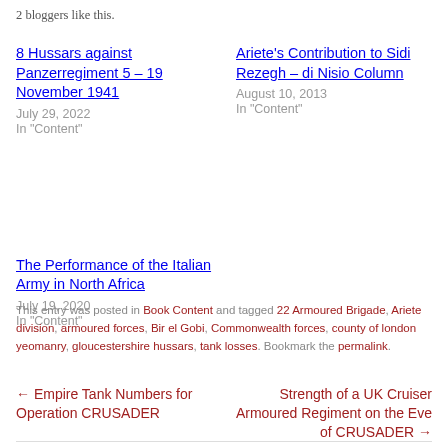2 bloggers like this.
8 Hussars against Panzerregiment 5 – 19 November 1941
July 29, 2022
In "Content"
Ariete's Contribution to Sidi Rezegh – di Nisio Column
August 10, 2013
In "Content"
The Performance of the Italian Army in North Africa
July 19, 2020
In "Content"
This entry was posted in Book Content and tagged 22 Armoured Brigade, Ariete division, armoured forces, Bir el Gobi, Commonwealth forces, county of london yeomanry, gloucestershire hussars, tank losses. Bookmark the permalink.
← Empire Tank Numbers for Operation CRUSADER
Strength of a UK Cruiser Armoured Regiment on the Eve of CRUSADER →